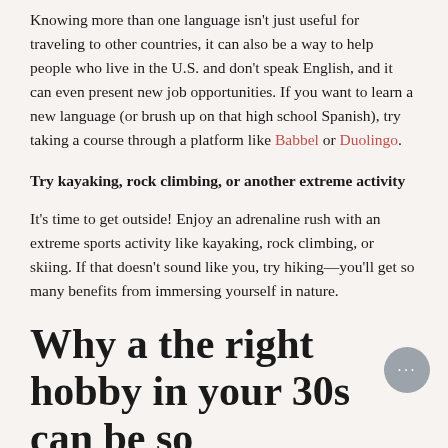Knowing more than one language isn't just useful for traveling to other countries, it can also be a way to help people who live in the U.S. and don't speak English, and it can even present new job opportunities. If you want to learn a new language (or brush up on that high school Spanish), try taking a course through a platform like Babbel or Duolingo.
Try kayaking, rock climbing, or another extreme activity
It's time to get outside! Enjoy an adrenaline rush with an extreme sports activity like kayaking, rock climbing, or skiing. If that doesn't sound like you, try hiking—you'll get so many benefits from immersing yourself in nature.
Why a the right hobby in your 30s can be so